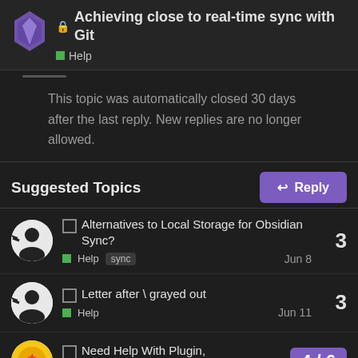Achieving close to real-time sync with Git — Help
This topic was automatically closed 30 days after the last reply. New replies are no longer allowed.
Suggested Topics
Alternatives to Local Storage for Obsidian Sync? — Help, sync — 3 replies — Jun 8
Letter after \ grayed out — Help — 3 replies — Jun 11
Need Help With Plugin, "Dynamic Table Of Conten... — 4/6